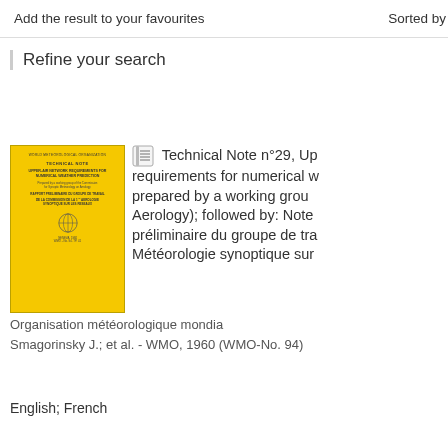Add the result to your favourites   Sorted by
Refine your search
[Figure (illustration): Yellow book cover of WMO Technical Note n°29 on upper-air network requirements for numerical weather prediction]
Technical Note n°29, Upper-air network requirements for numerical weather prediction prepared by a working group (Aerology); followed by: Note préliminaire du groupe de travail Météorologie synoptique sur...
Organisation météorologique mondia... Smagorinsky J.; et al. - WMO, 1960 (WMO-No. 94)
English; French